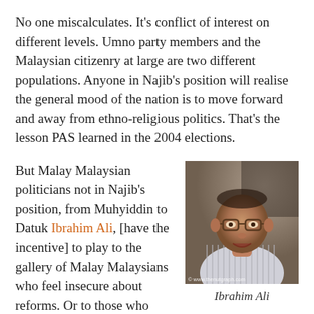No one miscalculates. It's conflict of interest on different levels. Umno party members and the Malaysian citizenry at large are two different populations. Anyone in Najib's position will realise the general mood of the nation is to move forward and away from ethno-religious politics. That's the lesson PAS learned in the 2004 elections.
But Malay Malaysian politicians not in Najib's position, from Muhyiddin to Datuk Ibrahim Ali, [have the incentive] to play to the gallery of Malay Malaysians who feel insecure about reforms. Or to those who dream of winning the lottery to become the next bumiputera billionaire. There is a natural constituency waiting for
[Figure (photo): Portrait photo of Ibrahim Ali, a Malaysian politician, wearing glasses and a striped shirt, with watermark © www.thenutgraph.com]
Ibrahim Ali